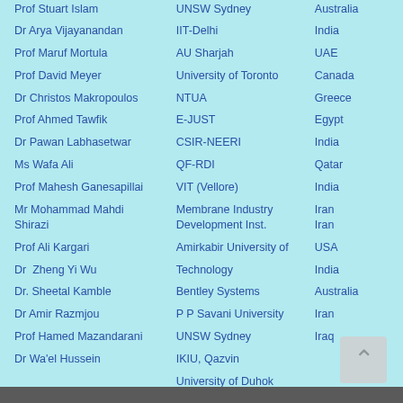| Name | Institution | Country |
| --- | --- | --- |
| Prof Stuart Islam | UNSW Sydney | Australia |
| Dr Arya Vijayanandan | IIT-Delhi | India |
| Prof Maruf Mortula | AU Sharjah | UAE |
| Prof David Meyer | University of Toronto | Canada |
| Dr Christos Makropoulos | NTUA | Greece |
| Prof Ahmed Tawfik | E-JUST | Egypt |
| Dr Pawan Labhasetwar | CSIR-NEERI | India |
| Ms Wafa Ali | QF-RDI | Qatar |
| Prof Mahesh Ganesapillai | VIT (Vellore) | India |
| Mr Mohammad Mahdi Shirazi | Membrane Industry Development Inst. | Iran |
| Prof Ali Kargari | Amirkabir University of Technology | USA |
| Dr  Zheng Yi Wu |  | India |
| Dr. Sheetal Kamble | Bentley Systems | Australia |
| Dr Amir Razmjou | P P Savani University | Iran |
| Prof Hamed Mazandarani | UNSW Sydney | Iraq |
| Dr Wa'el Hussein | IKIU, Qazvin |  |
|  | University of Duhok |  |